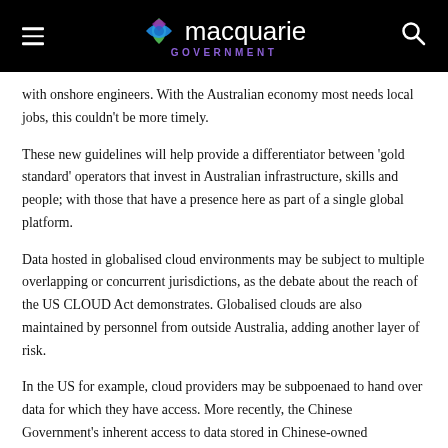macquarie GOVERNMENT
with onshore engineers. With the Australian economy most needs local jobs, this couldn't be more timely.
These new guidelines will help provide a differentiator between 'gold standard' operators that invest in Australian infrastructure, skills and people; with those that have a presence here as part of a single global platform.
Data hosted in globalised cloud environments may be subject to multiple overlapping or concurrent jurisdictions, as the debate about the reach of the US CLOUD Act demonstrates. Globalised clouds are also maintained by personnel from outside Australia, adding another layer of risk.
In the US for example, cloud providers may be subpoenaed to hand over data for which they have access. More recently, the Chinese Government's inherent access to data stored in Chinese-owned infrastructure and within China itself has come into focus, with many Australian providers having established data centres in Hong Kong as well as the mainland.